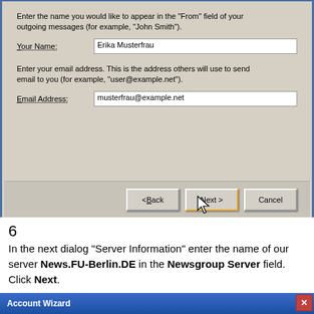[Figure (screenshot): Windows Account Wizard dialog showing fields for 'Your Name' filled with 'Erika Musterfrau' and 'Email Address' filled with 'musterfrau@example.net', with Back, Next, and Cancel buttons at the bottom. The Next button appears highlighted/focused with a mouse cursor pointing at it.]
6
In the next dialog "Server Information" enter the name of our server News.FU-Berlin.DE in the Newsgroup Server field. Click Next.
[Figure (screenshot): Blue title bar of Account Wizard dialog with a red X close button.]